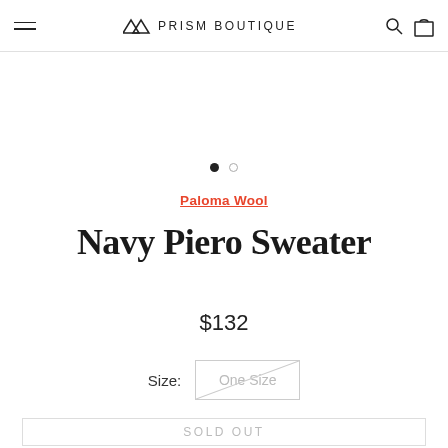Prism Boutique
[Figure (illustration): Image carousel dot indicators: one filled black dot and one empty circle dot]
Paloma Wool
Navy Piero Sweater
$132
Size: One Size
SOLD OUT